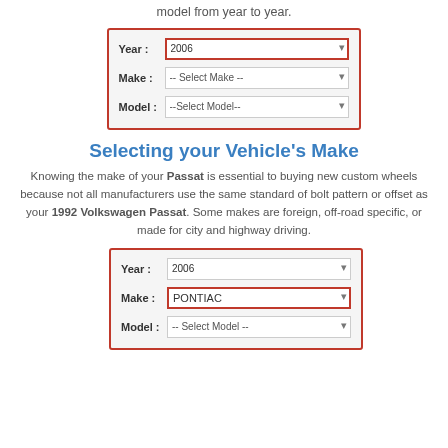model from year to year.
[Figure (screenshot): Form box with Year (2006, highlighted), Make (Select Make), Model (Select Model) dropdowns, red border around Year.]
Selecting your Vehicle's Make
Knowing the make of your Passat is essential to buying new custom wheels because not all manufacturers use the same standard of bolt pattern or offset as your 1992 Volkswagen Passat. Some makes are foreign, off-road specific, or made for city and highway driving.
[Figure (screenshot): Form box with Year (2006), Make (PONTIAC, highlighted in red), Model (Select Model) dropdowns, red border around Make.]